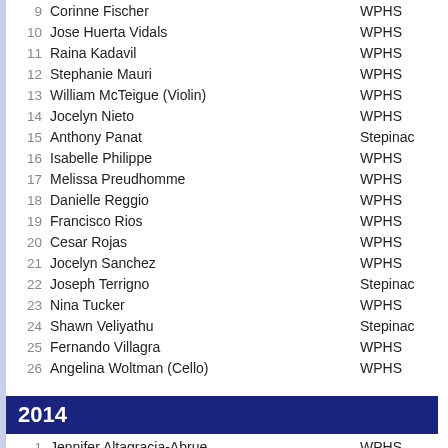9  Corinne Fischer  WPHS
10  Jose Huerta Vidals  WPHS
11  Raina Kadavil  WPHS
12  Stephanie Mauri  WPHS
13  William McTeigue (Violin)  WPHS
14  Jocelyn Nieto  WPHS
15  Anthony Panat  Stepinac
16  Isabelle Philippe  WPHS
17  Melissa Preudhomme  WPHS
18  Danielle Reggio  WPHS
19  Francisco Rios  WPHS
20  Cesar Rojas  WPHS
21  Jocelyn Sanchez  WPHS
22  Joseph Terrigno  Stepinac
23  Nina Tucker  WPHS
24  Shawn Veliyathu  Stepinac
25  Fernando Villagra  WPHS
26  Angelina Woltman (Cello)  WPHS
2014
1  Jennifer Altagracia-Abrue  WPHS
2  Theodore Chomiak (Cello)  WPHS